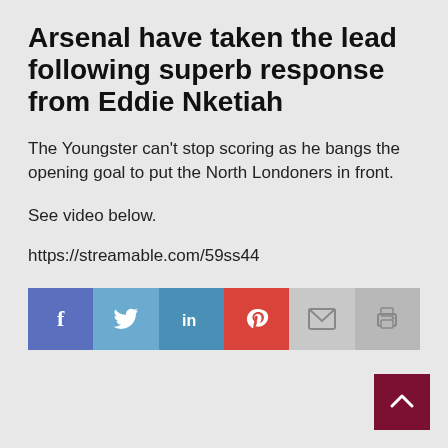Arsenal have taken the lead following superb response from Eddie Nketiah
The Youngster can't stop scoring as he bangs the opening goal to put the North Londoners in front.
See video below.
https://streamable.com/59ss44
[Figure (other): Social media share buttons: Facebook, Twitter, LinkedIn, Pinterest, Email, Print]